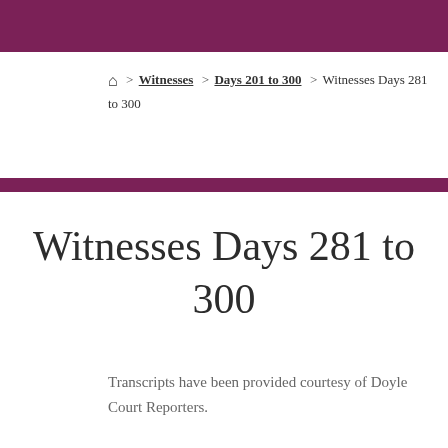Home > Witnesses > Days 201 to 300 > Witnesses Days 281 to 300
Witnesses Days 281 to 300
Transcripts have been provided courtesy of Doyle Court Reporters.